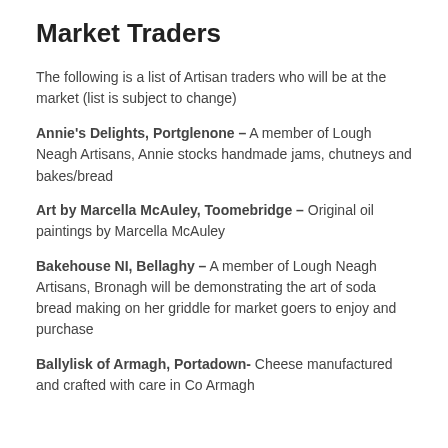Market Traders
The following is a list of Artisan traders who will be at the market (list is subject to change)
Annie's Delights, Portglenone – A member of Lough Neagh Artisans, Annie stocks handmade jams, chutneys and bakes/bread
Art by Marcella McAuley, Toomebridge – Original oil paintings by Marcella McAuley
Bakehouse NI, Bellaghy – A member of Lough Neagh Artisans, Bronagh will be demonstrating the art of soda bread making on her griddle for market goers to enjoy and purchase
Ballylisk of Armagh, Portadown- Cheese manufactured and crafted with care in Co Armagh